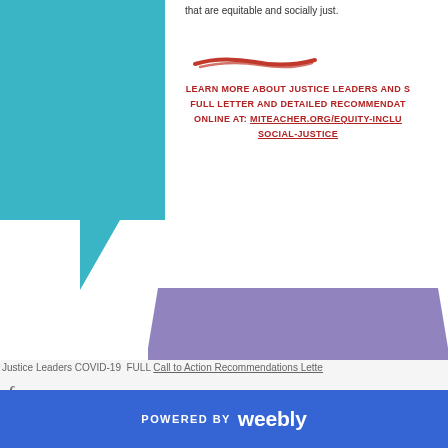that are equitable and socially just.
[Figure (illustration): Teal speech bubble / chevron shape on the left side of the page]
[Figure (illustration): Red brush stroke / underline decoration]
LEARN MORE ABOUT JUSTICE LEADERS AND S... FULL LETTER AND DETAILED RECOMMENDAT... ONLINE AT: MITEACHER.ORG/EQUITY-INCLU... SOCIAL-JUSTICE
[Figure (illustration): Large purple/mauve rounded pentagon or badge shape in lower portion of page]
Justice Leaders COVID-19  FULL Call to Action Recommendations Lette...
f
POWERED BY weebly